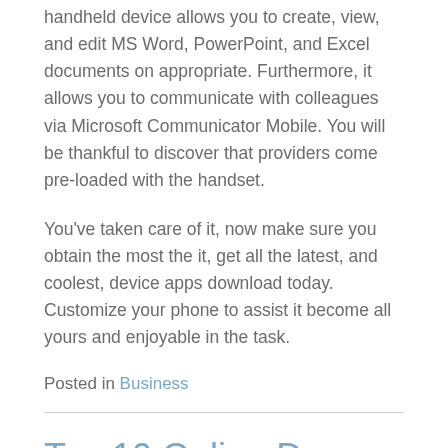handheld device allows you to create, view, and edit MS Word, PowerPoint, and Excel documents on appropriate. Furthermore, it allows you to communicate with colleagues via Microsoft Communicator Mobile. You will be thankful to discover that providers come pre-loaded with the handset.
You’ve taken care of it, now make sure you obtain the most the it, get all the latest, and coolest, device apps download today. Customize your phone to assist it become all yours and enjoyable in the task.
Posted in Business
Top 10 Online Degree Programs